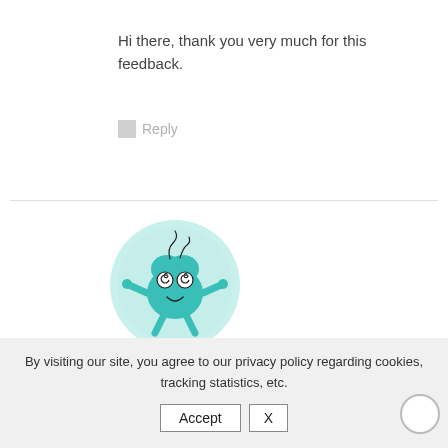Hi there, thank you very much for this feedback.
Reply
[Figure (illustration): A cartoon teal/turquoise blob character with spiral eyes, small arms and legs, on a light teal circular background — used as a commenter avatar.]
cbd gummies
12 April, 2021 at 09:40
By visiting our site, you agree to our privacy policy regarding cookies, tracking statistics, etc.